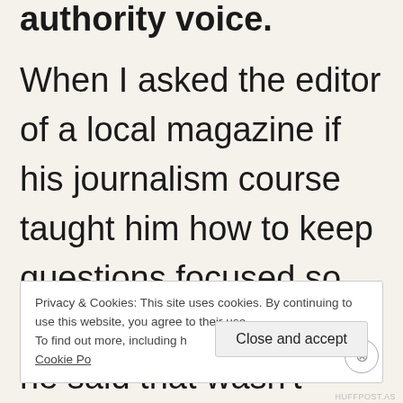authority voice.
When I asked the editor of a local magazine if his journalism course taught him how to keep questions focused so as not to be derailed, he said that wasn't taught, it was just common sense.
Privacy & Cookies: This site uses cookies. By continuing to use this website, you agree to their use.
To find out more, including how to control cookies, see here: Cookie Policy
Close and accept